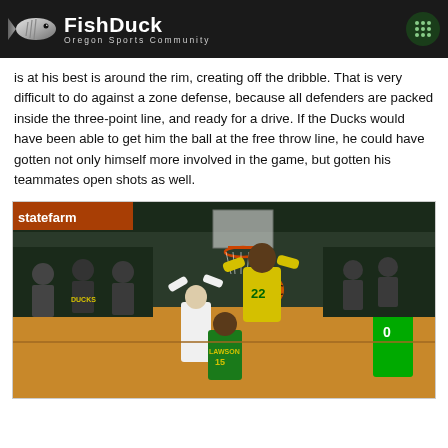FishDuck — Oregon Sports Community
is at his best is around the rim, creating off the dribble. That is very difficult to do against a zone defense, because all defenders are packed inside the three-point line, and ready for a drive. If the Ducks would have been able to get him the ball at the free throw line, he could have gotten not only himself more involved in the game, but gotten his teammates open shots as well.
[Figure (photo): Oregon Ducks basketball game photo showing player #22 in yellow Oregon uniform going up for a shot near the rim, with other players including #0 and LAWSON visible, in an arena setting]